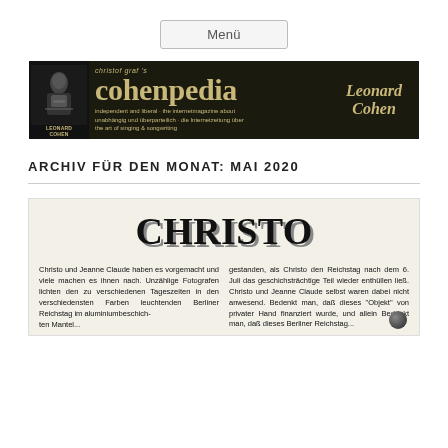Menü
[Figure (logo): Cohenpedia banner: christof graf's cohenpedia internet magazine about Leonard Cohen, black background with golden text and photo]
ARCHIV FÜR DEN MONAT: MAI 2020
[Figure (other): Article card with large 'CHRISTO' title and two columns of German text about Christo und Jeanne Claude and the Reichstag wrapping]
Christo und Jeanne Claude haben es vorgemacht und viele machen es ihnen nach. Unzählige Fotografen lichten den zu verschiedenen Tageszeiten in den verschiedensten Farben leuchtenden Berliner Reichstag im aluminiumbeschich- ...
gestanden, als Christo den Reichstag nach dem 6. Juli das geschichsträchtige Teil wieder enthüllen ließ. Christo und Jeanne Claude selbst waren dabei nicht anwesend. Bedenkt man, daß dieses "Objekt" von privater Hand finanziert wurde, und allein ...